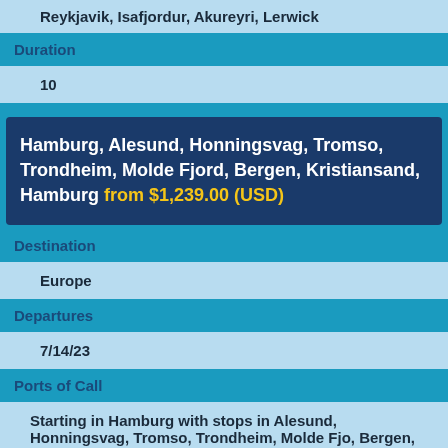Reykjavik, Isafjordur, Akureyri, Lerwick
Duration
10
Hamburg, Alesund, Honningsvag, Tromso, Trondheim, Molde Fjord, Bergen, Kristiansand, Hamburg from $1,239.00 (USD)
Destination
Europe
Departures
7/14/23
Ports of Call
Starting in Hamburg with stops in Alesund, Honningsvag, Tromso, Trondheim, Molde Fjord, Bergen, Kristiansand
Duration